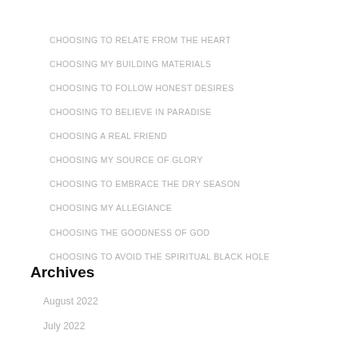CHOOSING TO RELATE FROM THE HEART
CHOOSING MY BUILDING MATERIALS
CHOOSING TO FOLLOW HONEST DESIRES
CHOOSING TO BELIEVE IN PARADISE
CHOOSING A REAL FRIEND
CHOOSING MY SOURCE OF GLORY
CHOOSING TO EMBRACE THE DRY SEASON
CHOOSING MY ALLEGIANCE
CHOOSING THE GOODNESS OF GOD
CHOOSING TO AVOID THE SPIRITUAL BLACK HOLE
Archives
August 2022
July 2022